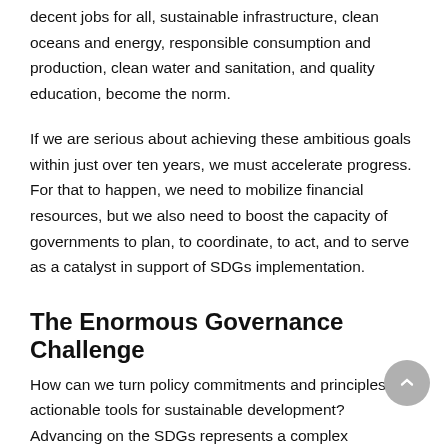decent jobs for all, sustainable infrastructure, clean oceans and energy, responsible consumption and production, clean water and sanitation, and quality education, become the norm.
If we are serious about achieving these ambitious goals within just over ten years, we must accelerate progress. For that to happen, we need to mobilize financial resources, but we also need to boost the capacity of governments to plan, to coordinate, to act, and to serve as a catalyst in support of SDGs implementation.
The Enormous Governance Challenge
How can we turn policy commitments and principles into actionable tools for sustainable development? Advancing on the SDGs represents a complex governance challenge. The